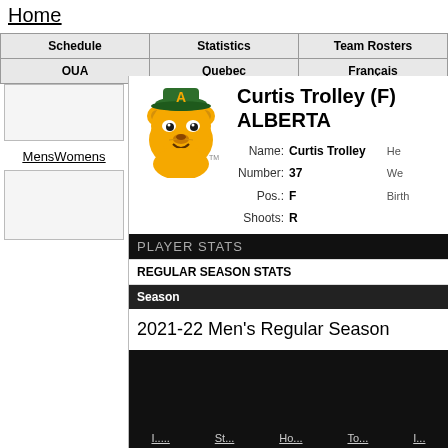Home
| Schedule | Statistics | Team Rosters |
| --- | --- | --- |
| OUA | Quebec | Français |
MensWomens
Curtis Trolley (F) ALBERTA
Name: Curtis Trolley
Number: 37
Pos.: F
Shoots: R
PLAYER STATS
REGULAR SEASON STATS
| Season |
| --- |
| 2021-22 Men's Regular Season |